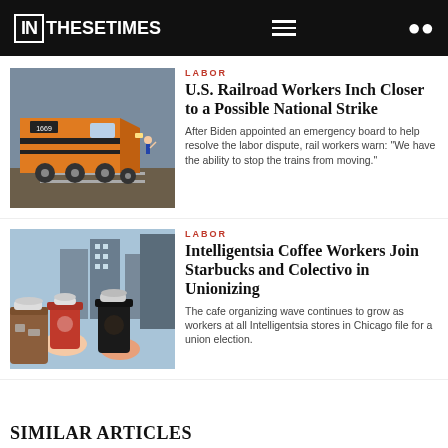IN THESE TIMES
LABOR
U.S. Railroad Workers Inch Closer to a Possible National Strike
After Biden appointed an emergency board to help resolve the labor dispute, rail workers warn: “We have the ability to stop the trains from moving.”
[Figure (photo): Orange freight locomotive on railroad tracks]
LABOR
Intelligentsia Coffee Workers Join Starbucks and Colectivo in Unionizing
The cafe organizing wave continues to grow as workers at all Intelligentsia stores in Chicago file for a union election.
[Figure (photo): Hands holding coffee cups in red and black cups with city buildings in background]
SIMILAR ARTICLES